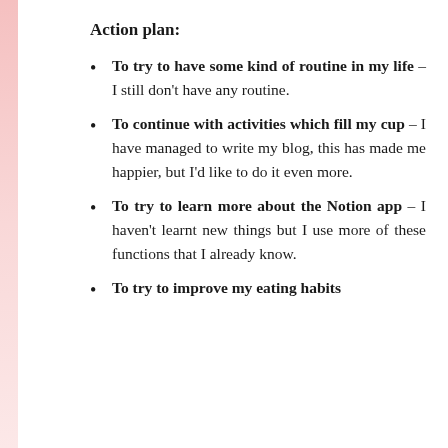Action plan:
To try to have some kind of routine in my life – I still don't have any routine.
To continue with activities which fill my cup – I have managed to write my blog, this has made me happier, but I'd like to do it even more.
To try to learn more about the Notion app – I haven't learnt new things but I use more of these functions that I already know.
To try to improve my eating habits